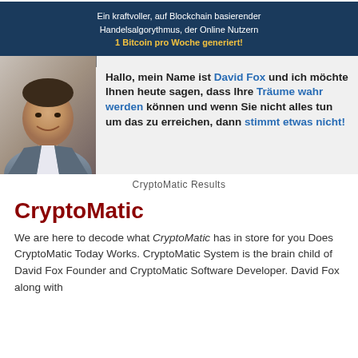[Figure (screenshot): Screenshot of a promotional video/webpage for CryptoMatic. Top section has dark blue background with white German text: 'Ein kraftvoller, auf Blockchain basierender Handelsalgorythmus, der Online Nutzern 1 Bitcoin pro Woche generiert!' with yellow highlight. Below is a video thumbnail showing a smiling man in a suit on the left, and German text on the right: 'Hallo, mein Name ist David Fox und ich möchte Ihnen heute sagen, dass Ihre Träume wahr werden können und wenn Sie nicht alles tun um das zu erreichen, dann stimmt etwas nicht!' with blue highlights. Date stamp reads: Wednesday, June 06, 2018.]
CryptoMatic Results
CryptoMatic
We are here to decode what CryptoMatic has in store for you Does CryptoMatic Today Works. CryptoMatic System is the brain child of David Fox Founder and CryptoMatic Software Developer. David Fox along with